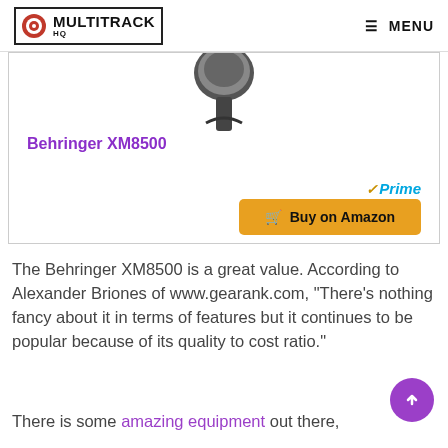MULTITRACK HQ — MENU
[Figure (photo): Partial view of a Behringer XM8500 microphone on white background, showing the bottom portion of the mic head]
Behringer XM8500
[Figure (other): Amazon Prime checkmark logo and 'Buy on Amazon' button with shopping cart icon]
The Behringer XM8500 is a great value. According to Alexander Briones of www.gearank.com, “There’s nothing fancy about it in terms of features but it continues to be popular because of its quality to cost ratio.”
There is some amazing equipment out there, in a relatively built but to pricing that